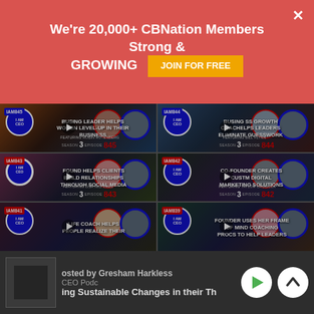[Figure (screenshot): Red promotional banner saying 'We're 20,000+ CBNation Members Strong & GROWING' with a yellow 'JOIN FOR FREE' button and an X close button]
[Figure (screenshot): IAM CEO Podcast episode grid showing 6 podcast thumbnails: IAM845 featuring Robin Rotenberg (Business Leader Helps Women Level-Up In Their Business), IAM844 featuring Bill Flynn (Business Growth Coach Helps Leaders Eliminate Guesswork), IAM843 featuring Lisa Nicholls (Founder Helps Clients Build Relationships Through Social Media), IAM842 featuring Taylor Cacciola (Co-Founder Creates Custom Digital Marketing Solutions), IAM841 (Life Coach Helps People Realize Their...), IAM839 (Founder Uses Her Frame Of Mind Coaching Process To Help Leaders...). All Season 3.]
[Figure (screenshot): Bottom player bar showing podcast player with thumbnail, hosted by Gresham Harkless, CEO Podcast, 'ing Sustainable Changes in their Th...' with green play button and expand chevron controls]